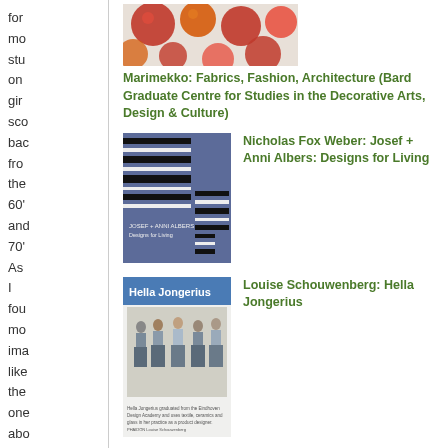for more studies on girls scores back from the 60's and 70's. As I found more images like the ones about my story
[Figure (photo): Book cover: Marimekko – colorful red/orange floral fabric pattern]
Marimekko: Fabrics, Fashion, Architecture (Bard Graduate Centre for Studies in the Decorative Arts, Design & Culture)
[Figure (photo): Book cover: Josef + Anni Albers: Designs for Living – black and white striped geometric pattern on blue/purple background]
Nicholas Fox Weber: Josef + Anni Albers: Designs for Living
[Figure (photo): Book cover: Hella Jongerius – showing group of people outdoors with 'Hella Jongerius' title text]
Louise Schouwenberg: Hella Jongerius
[Figure (photo): Book cover: partial view of a yellow-green cover, Margaret Kibel (partial text)]
Margaret Kibel...